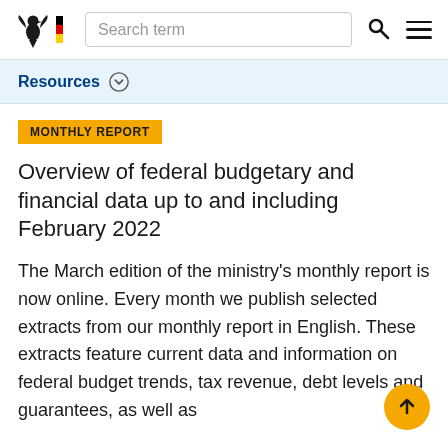Search term
Resources
MONTHLY REPORT
Overview of federal budgetary and financial data up to and including February 2022
The March edition of the ministry's monthly report is now online. Every month we publish selected extracts from our monthly report in English. These extracts feature current data and information on federal budget trends, tax revenue, debt levels and guarantees, as well as